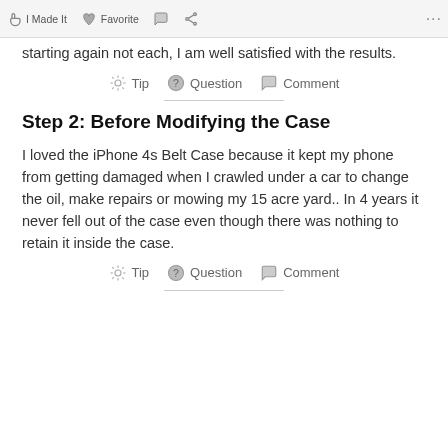I Made It  Favorite  Comment  ...
starting again not each, I am well satisfied with the results.
Tip  Question  Comment
Step 2: Before Modifying the Case
I loved the iPhone 4s Belt Case because it kept my phone from getting damaged when I crawled under a car to change the oil, make repairs or mowing my 15 acre yard.. In 4 years it never fell out of the case even though there was nothing to retain it inside the case.
Tip  Question  Comment